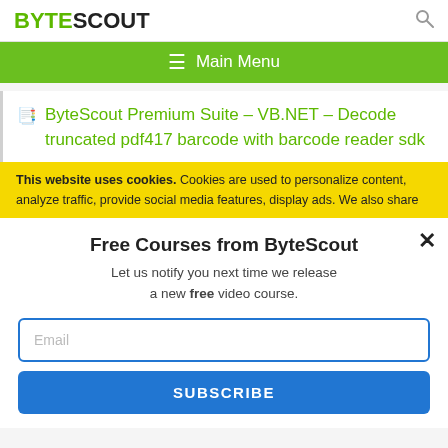BYTESCOUT
☰  Main Menu
ByteScout Premium Suite – VB.NET – Decode truncated pdf417 barcode with barcode reader sdk
This website uses cookies. Cookies are used to personalize content, analyze traffic, provide social media features, display ads. We also share
Free Courses from ByteScout
Let us notify you next time we release a new free video course.
Email
SUBSCRIBE